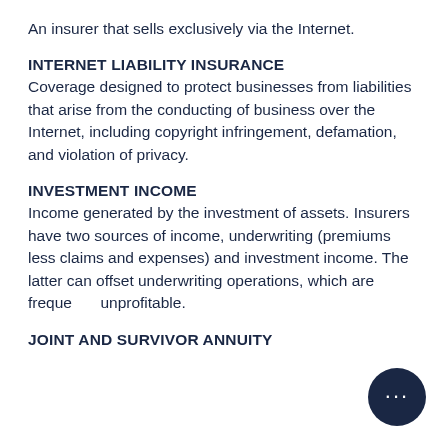An insurer that sells exclusively via the Internet.
INTERNET LIABILITY INSURANCE
Coverage designed to protect businesses from liabilities that arise from the conducting of business over the Internet, including copyright infringement, defamation, and violation of privacy.
INVESTMENT INCOME
Income generated by the investment of assets. Insurers have two sources of income, underwriting (premiums less claims and expenses) and investment income. The latter can offset underwriting operations, which are frequently unprofitable.
JOINT AND SURVIVOR ANNUITY